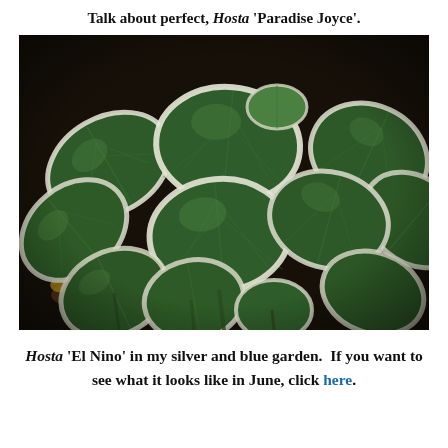Talk about perfect, Hosta 'Paradise Joyce'.
[Figure (photo): Close-up photograph of Hosta 'Paradise Joyce' plant showing multiple large green leaves with white/cream margins, viewed from above against a dark background with some fallen leaves visible.]
Hosta 'El Nino' in my silver and blue garden. If you want to see what it looks like in June, click here.